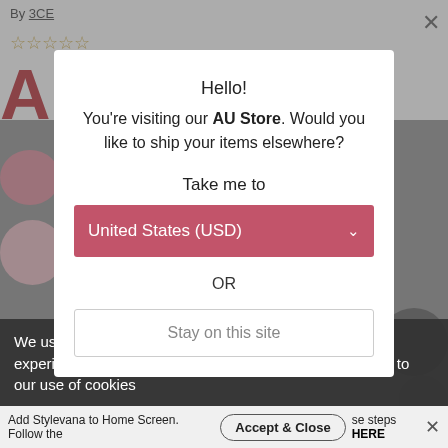By 3CE
★☆☆☆☆  Write a review
[Figure (screenshot): Background e-commerce product page for 3CE brand, partially obscured by modal overlay, showing large letter A in red, price lines, color swatches, and navigation elements]
Hello!
You're visiting our AU Store. Would you like to ship your items elsewhere?
Take me to
United States (USD)
OR
Stay on this site
We use cookies in order to give you the best online experience. Just continue to use our website if you agree to our use of cookies
Add Stylevana to Home Screen. Follow these steps HERE